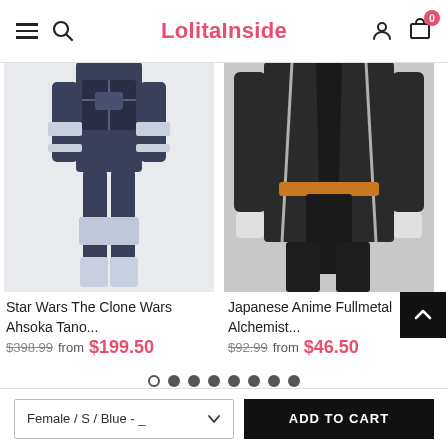LolitaInside
[Figure (photo): Star Wars The Clone Wars Ahsoka Tano cosplay costume - female mannequin wearing dark blue armored bodysuit with chest harness and leg armor]
Star Wars The Clone Wars Ahsoka Tano...
$398.99 from $199.50
[Figure (photo): Japanese Anime Fullmetal Alchemist cosplay costume - male mannequin in dark long coat with white trim, orange belt, and black pants]
Japanese Anime Fullmetal Alchemist...
$92.99 from $46.50
Female / S / Blue - _
ADD TO CART